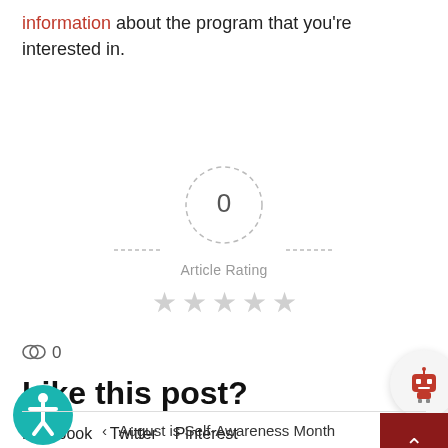information about the program that you're interested in.
[Figure (other): Article rating widget showing a dashed circle with '0' in the center, dashes on either side, label 'Article Rating' below, and five empty gray stars beneath that.]
0 (comment count)
Like this post?
Facebook   Twitter   Pinterest